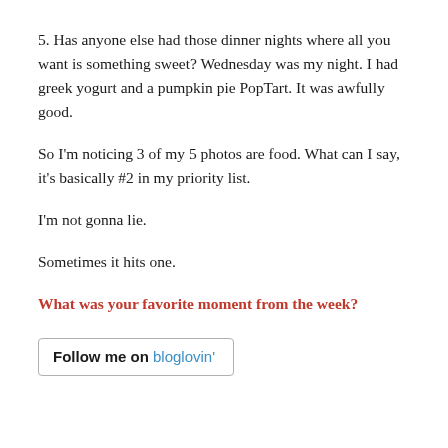5. Has anyone else had those dinner nights where all you want is something sweet? Wednesday was my night. I had greek yogurt and a pumpkin pie PopTart. It was awfully good.
So I'm noticing 3 of my 5 photos are food. What can I say, it's basically #2 in my priority list.
I'm not gonna lie.
Sometimes it hits one.
What was your favorite moment from the week?
[Figure (other): Follow me on bloglovin' button/badge with border]